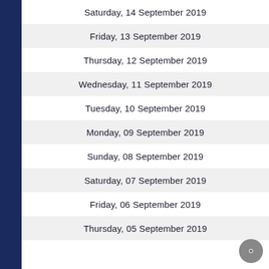Saturday, 14 September 2019
Friday, 13 September 2019
Thursday, 12 September 2019
Wednesday, 11 September 2019
Tuesday, 10 September 2019
Monday, 09 September 2019
Sunday, 08 September 2019
Saturday, 07 September 2019
Friday, 06 September 2019
Thursday, 05 September 2019